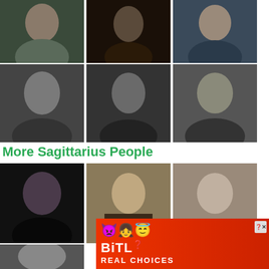[Figure (photo): Photo of Antonio Ba... - man in suit, dark background]
[Figure (photo): Photo of Baltasar Gr... - dark portrait painting]
[Figure (photo): Photo of Pedro Almo... - man in black shirt]
[Figure (photo): Photo of Bruno Herre... - black and white portrait]
[Figure (photo): Photo of Cristobal B... - black and white portrait]
[Figure (photo): Photo of Daniel Brühl - black and white portrait]
More Sagittarius People
[Figure (photo): Photo of Nelly Fur... - woman with dark hair]
[Figure (photo): Portrait painting of historical figure]
[Figure (photo): Photo of elderly woman]
[Figure (photo): Advertisement banner - BitLife Real Choices]
[Figure (photo): Partially visible photo at bottom]